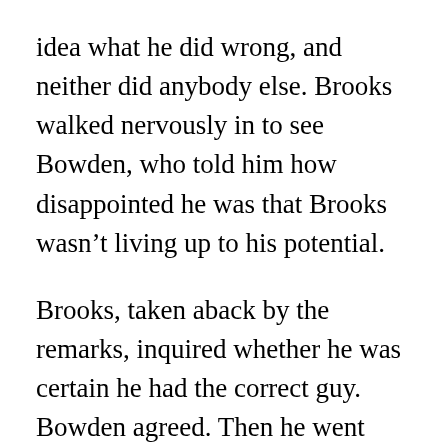idea what he did wrong, and neither did anybody else. Brooks walked nervously in to see Bowden, who told him how disappointed he was that Brooks wasn't living up to his potential.
Brooks, taken aback by the remarks, inquired whether he was certain he had the correct guy. Bowden agreed. Then he went back to Brooks' first semester grades. Bowden noted Brooks' C in biology, adding that it was the first time in his life he had received a C. Brooks was startled to hear another voice on the speakerphone: his mother shouting